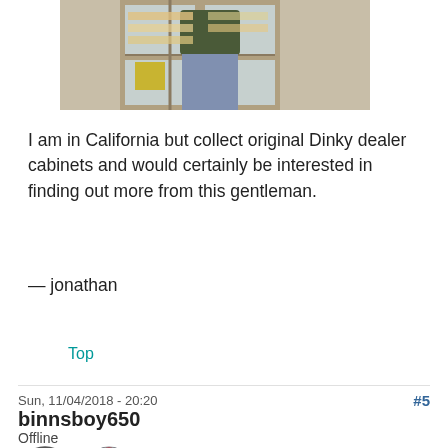[Figure (photo): Partial photo of a person standing in front of a door/window display, cropped at top]
I am in California but collect original Dinky dealer cabinets and would certainly be interested in finding out more from this gentleman.
— jonathan
Top
Sun, 11/04/2018 - 20:20
#5
binnsboy650
Offline
[Figure (illustration): Two circular badge icons: a tire/wheel badge and a UK flag badge]